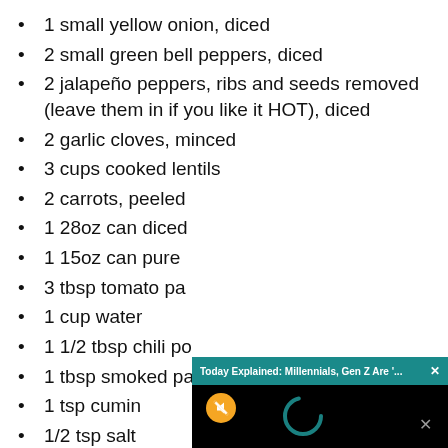1 small yellow onion, diced
2 small green bell peppers, diced
2 jalapeño peppers, ribs and seeds removed (leave them in if you like it HOT), diced
2 garlic cloves, minced
3 cups cooked lentils
2 carrots, peeled [partially obscured]
1 28oz can diced [partially obscured]
1 15oz can pure [partially obscured]
3 tbsp tomato pa[partially obscured]
1 cup water
1 1/2 tbsp chili po[partially obscured]
1 tbsp smoked paprika
1 tsp cumin
1/2 tsp salt
1/4 tsp pepper
1 15 oz can red kidney beans
[Figure (screenshot): A video popup overlay with teal header bar reading 'Today Explained: Millennials, Gen Z Are '...' with an X close button. The video content area is black with a yellow circular mute button icon on the left and a teal loading spinner circle in the center. A grey X button appears at the bottom right corner of the overlay.]